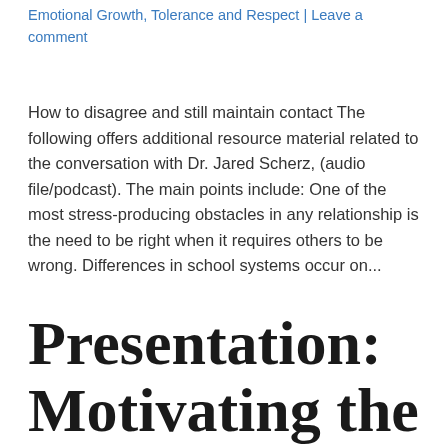Emotional Growth, Tolerance and Respect | Leave a comment
How to disagree and still maintain contact The following offers additional resource material related to the conversation with Dr. Jared Scherz, (audio file/podcast). The main points include: One of the most stress-producing obstacles in any relationship is the need to be right when it requires others to be wrong. Differences in school systems occur on...
Presentation: Motivating the